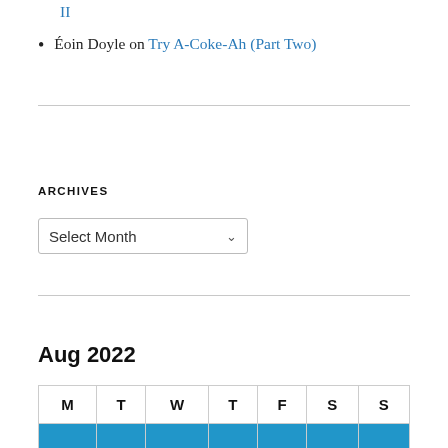II
Eóin Doyle on Try A-Coke-Ah (Part Two)
ARCHIVES
Select Month
Aug 2022
| M | T | W | T | F | S | S |
| --- | --- | --- | --- | --- | --- | --- |
|  |  |  |  |  |  |  |